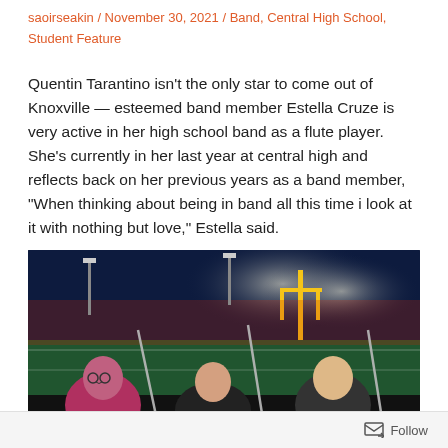saoirseakin / November 30, 2021 / Band, Central High School, Student Feature
Quentin Tarantino isn't the only star to come out of Knoxville — esteemed band member Estella Cruze is very active in her high school band as a flute player. She's currently in her last year at central high and reflects back on her previous years as a band member, "When thinking about being in band all this time i look at it with nothing but love," Estella said.
[Figure (photo): Students holding flutes at a night football game in a stadium with field lights and a yellow goal post visible in the background.]
Follow